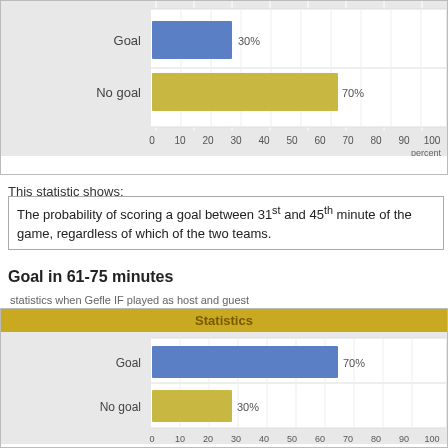[Figure (bar-chart): Statistics (top chart)]
This statistic shows:
The probability of scoring a goal between 31st and 45th minute of the game, regardless of which of the two teams.
Goal in 61-75 minutes
statistics when Gefle IF played as host and guest
[Figure (bar-chart): Statistics]